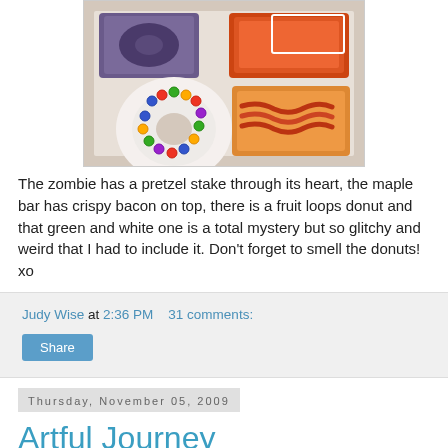[Figure (photo): Box of specialty donuts including a fruit loops donut with colorful cereal rings, a maple bar with bacon on top, a zombie donut with pretzel stake, and a green and white mystery donut]
The zombie has a pretzel stake through its heart, the maple bar has crispy bacon on top, there is a fruit loops donut and that green and white one is a total mystery but so glitchy and weird that I had to include it. Don't forget to smell the donuts! xo
Judy Wise at 2:36 PM    31 comments:
Share
Thursday, November 05, 2009
Artful Journey